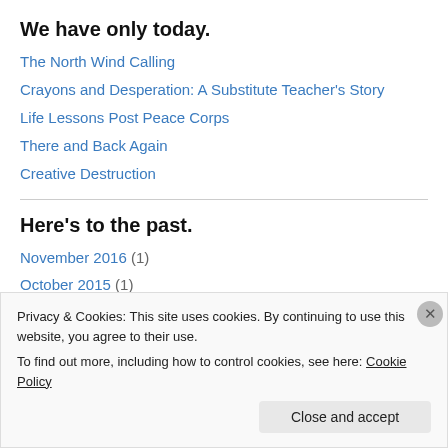We have only today.
The North Wind Calling
Crayons and Desperation: A Substitute Teacher's Story
Life Lessons Post Peace Corps
There and Back Again
Creative Destruction
Here's to the past.
November 2016 (1)
October 2015 (1)
August 2015 (1)
Privacy & Cookies: This site uses cookies. By continuing to use this website, you agree to their use.
To find out more, including how to control cookies, see here: Cookie Policy
Close and accept